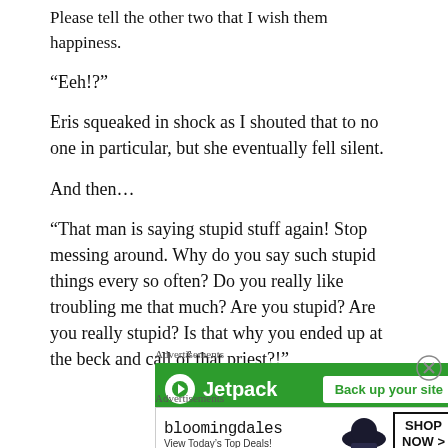Please tell the other two that I wish them happiness.
“Eeh!?”
Eris squeaked in shock as I shouted that to no one in particular, but she eventually fell silent.
And then…
“That man is saying stupid stuff again! Stop messing around. Why do you say such stupid things every so often? Do you really like troubling me that much? Are you stupid? Are you really stupid? Is that why you ended up at the beck and call of that priest?!”
[Figure (infographic): Jetpack advertisement banner with green background, Jetpack logo and name, and 'Back up your site' call-to-action button]
[Figure (infographic): Bloomingdale's advertisement with logo, model photo wearing hat, 'View Today's Top Deals!' text, and 'SHOP NOW >' button]